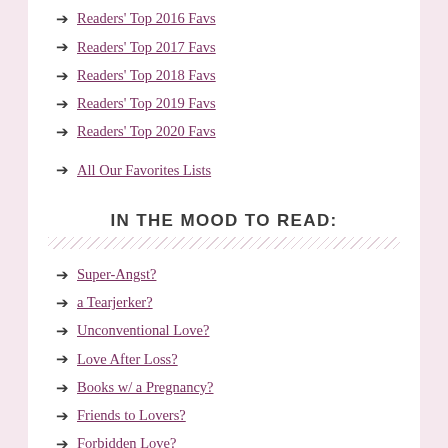Readers' Top 2016 Favs
Readers' Top 2017 Favs
Readers' Top 2018 Favs
Readers' Top 2019 Favs
Readers' Top 2020 Favs
All Our Favorites Lists
IN THE MOOD TO READ:
Super-Angst?
a Tearjerker?
Unconventional Love?
Love After Loss?
Books w/ a Pregnancy?
Friends to Lovers?
Forbidden Love?
Falling for a Celebrity?
Men in Uniform?
Gritty Biker Romance?
Marital Strife?